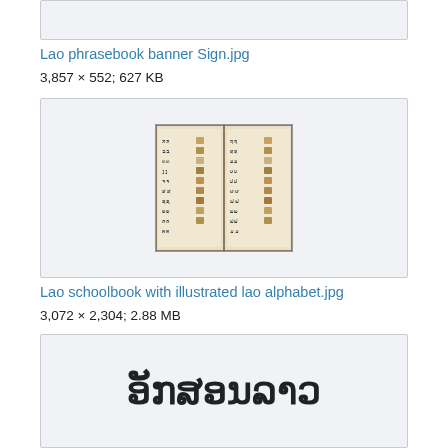[Figure (other): Top image box (partially visible, cropped at top)]
Lao phrasebook banner Sign.jpg
3,857 × 552; 627 KB
[Figure (photo): Photo of an open Lao schoolbook showing illustrated Lao alphabet with small drawings next to letters]
Lao schoolbook with illustrated lao alphabet.jpg
3,072 × 2,304; 2.88 MB
[Figure (other): Image box showing Lao text: ອັກສອນລາວ (Lao alphabet)]